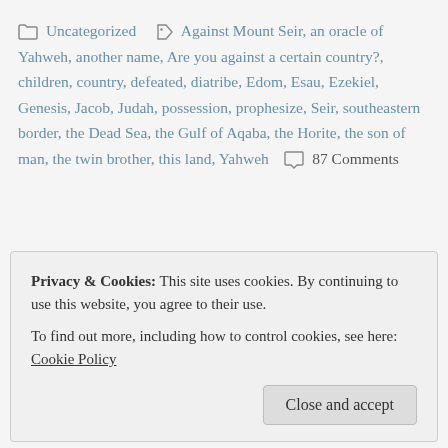Uncategorized  Against Mount Seir, an oracle of Yahweh, another name, Are you against a certain country?, children, country, defeated, diatribe, Edom, Esau, Ezekiel, Genesis, Jacob, Judah, possession, prophesize, Seir, southeastern border, the Dead Sea, the Gulf of Aqaba, the Horite, the son of man, the twin brother, this land, Yahweh  87 Comments
Privacy & Cookies: This site uses cookies. By continuing to use this website, you agree to their use. To find out more, including how to control cookies, see here: Cookie Policy